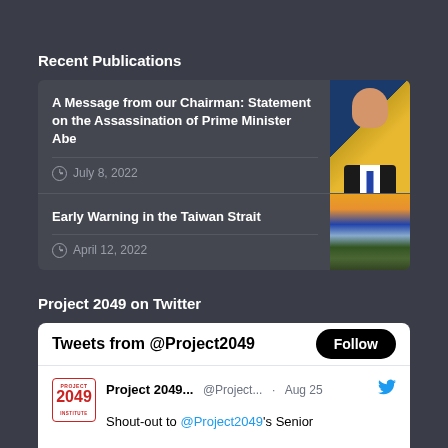Recent Publications
A Message from our Chairman: Statement on the Assassination of Prime Minister Abe
July 8, 2022
[Figure (photo): Portrait photo of a man in a suit against flags]
Early Warning in the Taiwan Strait
April 12, 2022
[Figure (photo): Aerial/sunset landscape photo of a road through green terrain]
Project 2049 on Twitter
Tweets from @Project2049
Follow
[Figure (logo): Project 2049 Institute logo]
Project 2049... @Project... · Aug 25
Shout-out to @Project2049's Senior